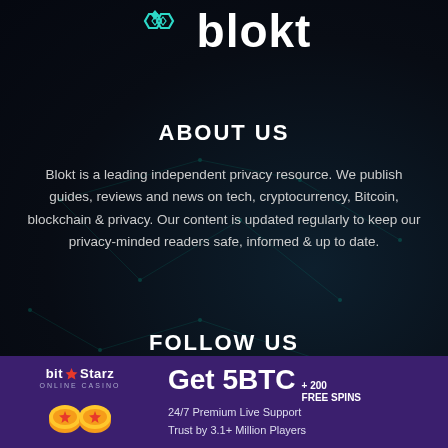[Figure (logo): Blokt logo with teal hexagonal icon and white bold text 'blokt']
ABOUT US
Blokt is a leading independent privacy resource. We publish guides, reviews and news on tech, cryptocurrency, Bitcoin, blockchain & privacy. Our content is updated regularly to keep our privacy-minded readers safe, informed & up to date.
FOLLOW US
[Figure (infographic): BitStarz Online Casino advertisement banner: 'Get 5BTC + 200 FREE SPINS, 24/7 Premium Live Support, Trust by 3.1+ Million Players']